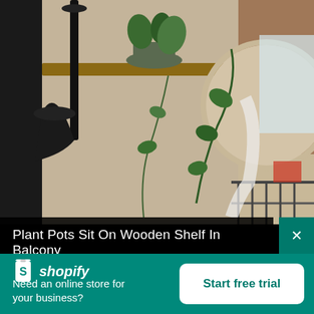[Figure (photo): Photo of plant pots sitting on a wooden shelf on a balcony, with a pendant lamp in the foreground and trailing ivy plants and greenery visible against a brick wall and balcony railing]
Plant Pots Sit On Wooden Shelf In Balcony
[Figure (logo): Shopify logo: white shopping bag icon with 'S' and italic white text 'shopify']
Need an online store for your business?
Start free trial